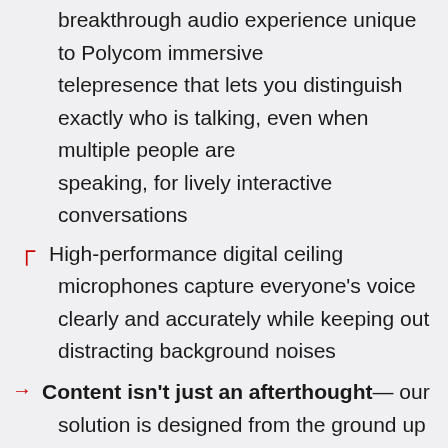breakthrough audio experience unique to Polycom immersive telepresence that lets you distinguish exactly who is talking, even when multiple people are speaking, for lively interactive conversations
High-performance digital ceiling microphones capture everyone's voice clearly and accurately while keeping out distracting background noises
Content isn't just an afterthought— our solution is designed from the ground up for rich collaboration so that everyone can share and interact with content easily and naturally, with